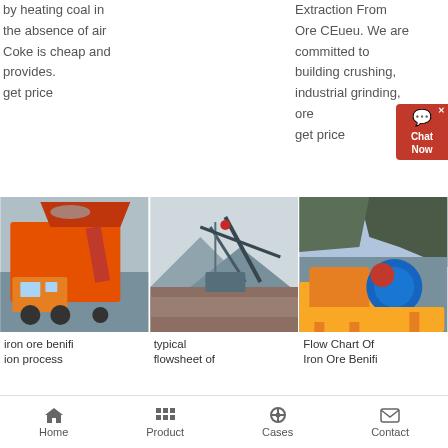by heating coal in the absence of air Coke is cheap and provides.
get price
Extraction From Ore CEueu. We are committed to building crushing, industrial grinding, ore
get price
[Figure (photo): Orange mining/crushing machine equipment on site]
iron ore benifion process
[Figure (photo): Typical flowsheet of industrial crushing and screening equipment]
typical flowsheet of
[Figure (photo): Flow chart of iron ore beneficiation - jaw crusher with blue motor against mountain background]
Flow Chart Of Iron Ore Benifi
Home   Product   Cases   Contact